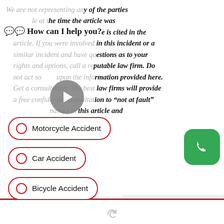We are not representing any of the parties mentioned in this article at the time the article was posted. Our information source is cited in the article. If you were involved in this incident or a similar incident and have questions as to your rights and options, call a reputable law firm. Do not act solely upon the information provided here. Get a consultation. The best law firms will provide a free confidential consultation to “not at fault” named in this article and family members.
💬 How can I help you?
Motorcycle Accident
Car Accident
Bicycle Accident